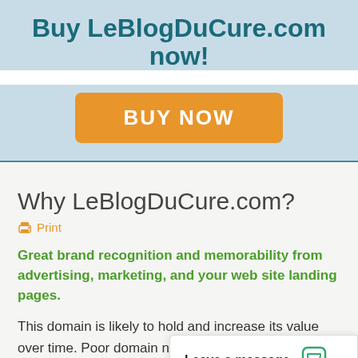Buy LeBlogDuCure.com now!
[Figure (other): Orange 'BUY NOW' button on light blue banner background]
Why LeBlogDuCure.com?
Print
Great brand recognition and memorability from advertising, marketing, and your web site landing pages.
This domain is likely to hold and increase its value over time. Poor domain names lose traffic and new customer conversions to better domain named companies, Microso... "domain bias in web...
Leave a message